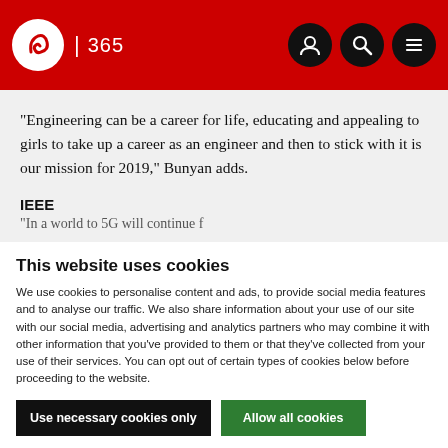IBC 365
“Engineering can be a career for life, educating and appealing to girls to take up a career as an engineer and then to stick with it is our mission for 2019,” Bunyan adds.
IEEE
This website uses cookies
We use cookies to personalise content and ads, to provide social media features and to analyse our traffic. We also share information about your use of our site with our social media, advertising and analytics partners who may combine it with other information that you’ve provided to them or that they’ve collected from your use of their services. You can opt out of certain types of cookies below before proceeding to the website.
Use necessary cookies only | Allow all cookies
Show details